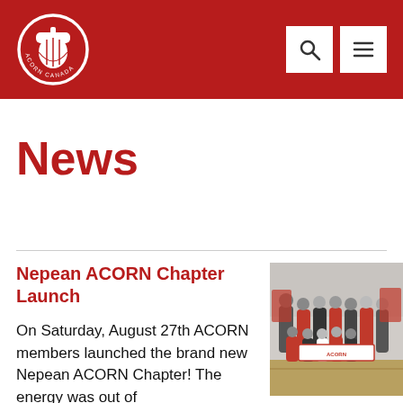ACORN CANADA (logo with navigation icons)
News
Nepean ACORN Chapter Launch
[Figure (photo): Group of ACORN members standing inside a gymnasium holding a red and white ACORN banner.]
On Saturday, August 27th ACORN members launched the brand new Nepean ACORN Chapter! The energy was out of